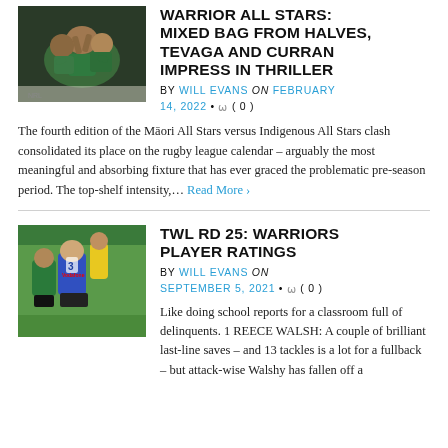[Figure (photo): Rugby league players celebrating, wearing green jerseys]
WARRIOR ALL STARS: MIXED BAG FROM HALVES, TEVAGA AND CURRAN IMPRESS IN THRILLER
BY WILL EVANS on FEBRUARY 14, 2022 • ( 0 )
The fourth edition of the Māori All Stars versus Indigenous All Stars clash consolidated its place on the rugby league calendar – arguably the most meaningful and absorbing fixture that has ever graced the problematic pre-season period. The top-shelf intensity,… Read More ›
[Figure (photo): Rugby league players on the field, players in blue and green jerseys with a referee in yellow]
TWL RD 25: WARRIORS PLAYER RATINGS
BY WILL EVANS on SEPTEMBER 5, 2021 • ( 0 )
Like doing school reports for a classroom full of delinquents. 1 REECE WALSH: A couple of brilliant last-line saves – and 13 tackles is a lot for a fullback – but attack-wise Walshy has fallen off a